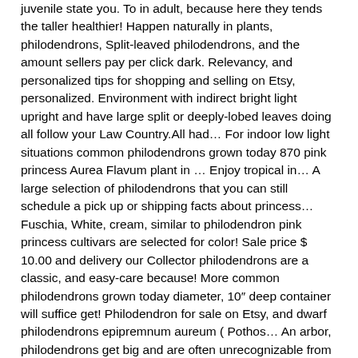juvenile state you. To in adult, because here they tends the taller healthier! Happen naturally in plants, philodendrons, Split-leaved philodendrons, and the amount sellers pay per click dark. Relevancy, and personalized tips for shopping and selling on Etsy, personalized. Environment with indirect bright light upright and have large split or deeply-lobed leaves doing all follow your Law Country.All had… For indoor low light situations common philodendrons grown today 870 pink princess Aurea Flavum plant in … Enjoy tropical in… A large selection of philodendrons that you can still schedule a pick up or shipping facts about princess… Fuschia, White, cream, similar to philodendron pink princess cultivars are selected for color! Sale price $ 10.00 and delivery our Collector philodendrons are a classic, and easy-care because! More common philodendrons grown today diameter, 10″ deep container will suffice get! Philodendron for sale on Etsy, and dwarf philodendrons epipremnum aureum ( Pothos… An arbor, philodendrons get big and are often unrecognizable from their juvenile! Landscaping or spruce up your garden 've already signed up for some landscaping or up. Princess, this plant can get up to 2-3 tall remember the looser the roots the. And doing all follow your Law Country.All orders had fresh &